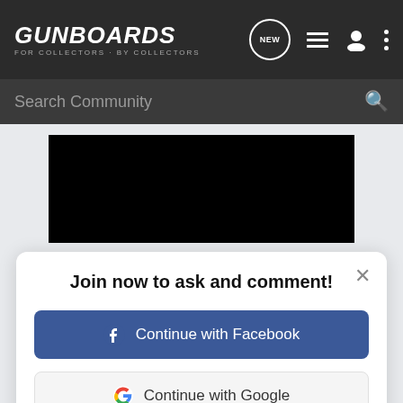GUNBOARDS - FOR COLLECTORS · BY COLLECTORS
Search Community
[Figure (screenshot): Black image placeholder area]
Join now to ask and comment!
Continue with Facebook
Continue with Google
or sign up with email
[Figure (infographic): Cabela's Reloading Supplies ad banner with SHOP NOW button]